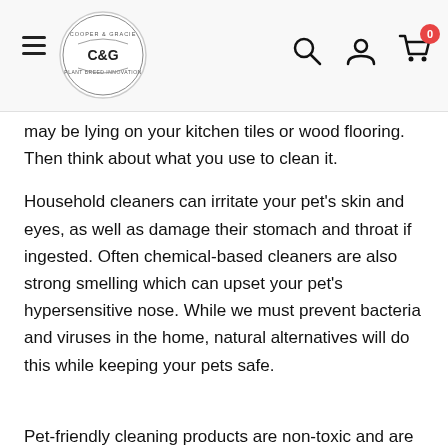C&G logo, hamburger menu, search, account, cart (0)
may be lying on your kitchen tiles or wood flooring. Then think about what you use to clean it.
Household cleaners can irritate your pet's skin and eyes, as well as damage their stomach and throat if ingested. Often chemical-based cleaners are also strong smelling which can upset your pet's hypersensitive nose. While we must prevent bacteria and viruses in the home, natural alternatives will do this while keeping your pets safe.
Pet-friendly cleaning products are non-toxic and are often made using natural or plant-based ingredients. These natural ingredients cut through dirt and destroy bacteria without harming pets or the environment. We've developed a range of natural pet-friendly cleaning products to meet all cleaning needs in the home.